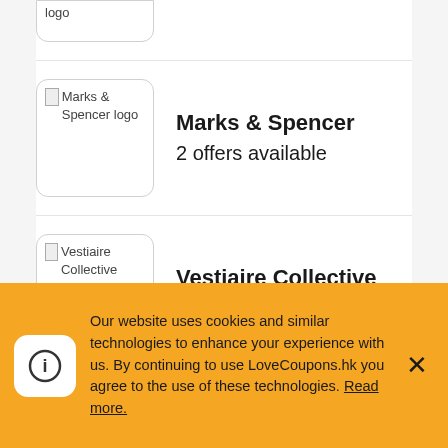[Figure (logo): Partial logo box cropped at top of page showing 'logo' text]
Marks & Spencer
2 offers available
Vestiaire Collective
15 offers available
HBX
10 offers available
Our website uses cookies and similar technologies to enhance your experience with us. By continuing to use LoveCoupons.hk you agree to the use of these technologies. Read more.